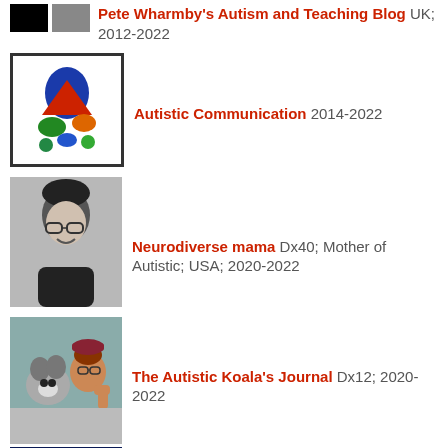Pete Wharmby's Autism and Teaching Blog UK; 2012-2022
Autistic Communication 2014-2022
Neurodiverse mama Dx40; Mother of Autistic; USA; 2020-2022
The Autistic Koala's Journal Dx12; 2020-2022
The Colley Collective Dx3; 2020-2022